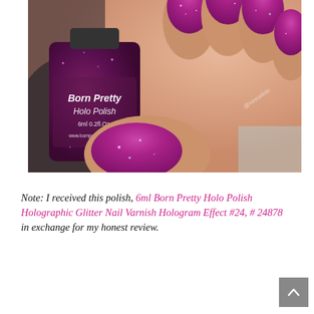[Figure (photo): Close-up photo of a hand holding a Born Pretty Holo Polish bottle (6ml 0.2fl.oz, www.bornprettystore.com). Nails are painted in a holographic glittery purple/magenta shade. Watermark reads @runrunlolo.]
Note: I received this polish, 6ml Born Pretty Holo Polish Holographic Glitter Nail Varnish Hologram Effect #24, # 24878 in exchange for my honest review.